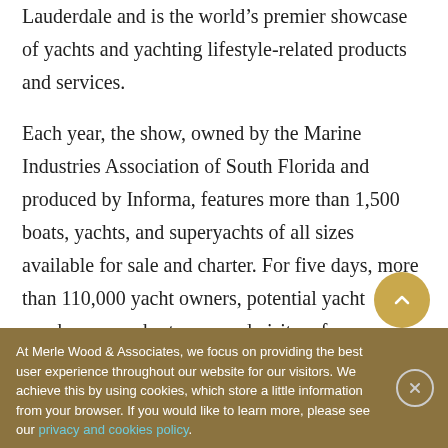Lauderdale and is the world's premier showcase of yachts and yachting lifestyle-related products and services.
Each year, the show, owned by the Marine Industries Association of South Florida and produced by Informa, features more than 1,500 boats, yachts, and superyachts of all sizes available for sale and charter. For five days, more than 110,000 yacht owners, potential yacht purchasers or charterers, and visitors from more than 50 countries come together in one of the most
At Merle Wood & Associates, we focus on providing the best user experience throughout our website for our visitors. We achieve this by using cookies, which store a little information from your browser. If you would like to learn more, please see our privacy and cookies policy.